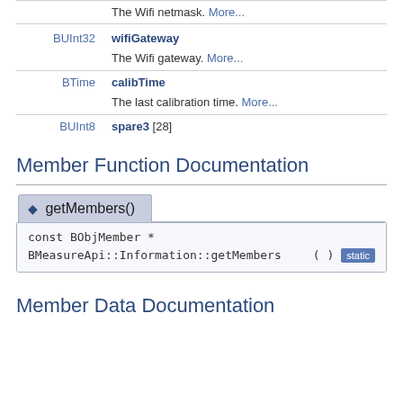| Type | Member |
| --- | --- |
|  | The Wifi netmask. More... |
| BUInt32 | wifiGateway — The Wifi gateway. More... |
| BTime | calibTime — The last calibration time. More... |
| BUInt8 | spare3 [28] |
Member Function Documentation
[Figure (other): Function documentation box for getMembers() showing: const BObjMember * BMeasureApi::Information::getMembers ( ) static]
Member Data Documentation